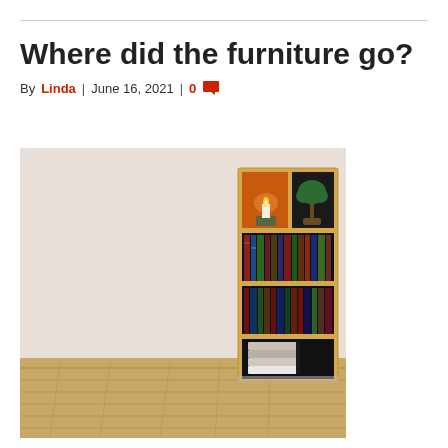Where did the furniture go?
By Linda | June 16, 2021 | 0
[Figure (photo): An empty room with light beige walls and light wood laminate flooring. On the right side of the image is a floating wooden bookshelf unit with multiple compartments containing books, a candle in an orange-lit niche, a small bonsai tree, and stacked books on the bottom shelf.]